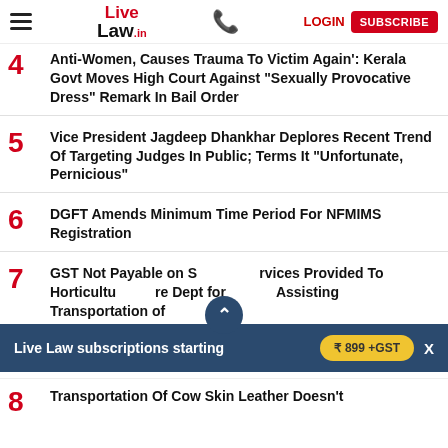Live Law
4 Anti-Women, Causes Trauma To Victim Again': Kerala Govt Moves High Court Against "Sexually Provocative Dress" Remark In Bail Order
5 Vice President Jagdeep Dhankhar Deplores Recent Trend Of Targeting Judges In Public; Terms It "Unfortunate, Pernicious"
6 DGFT Amends Minimum Time Period For NFMIMS Registration
7 GST Not Payable on Services Provided To Horticulture Dept for Assisting Transportation of...
Live Law subscriptions starting ₹ 899 +GST
8 Transportation Of Cow Skin Leather Doesn't...